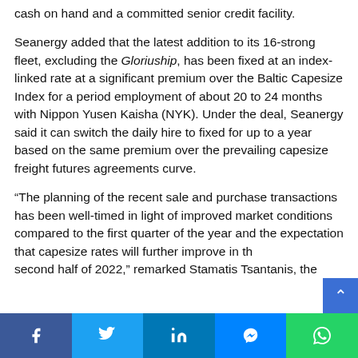cash on hand and a committed senior credit facility.
Seanergy added that the latest addition to its 16-strong fleet, excluding the Gloriuship, has been fixed at an index-linked rate at a significant premium over the Baltic Capesize Index for a period employment of about 20 to 24 months with Nippon Yusen Kaisha (NYK). Under the deal, Seanergy said it can switch the daily hire to fixed for up to a year based on the same premium over the prevailing capesize freight futures agreements curve.
“The planning of the recent sale and purchase transactions has been well-timed in light of improved market conditions compared to the first quarter of the year and the expectation that capesize rates will further improve in the second half of 2022,” remarked Stamatis Tsantanis, the
[Figure (other): Social share bar with Facebook, Twitter, LinkedIn, Messenger, and WhatsApp buttons]